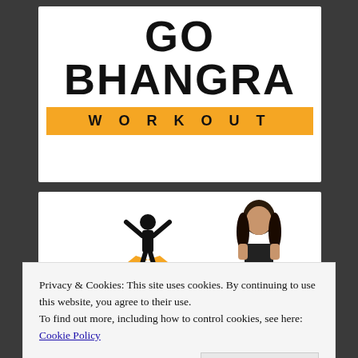[Figure (logo): Go Bhangra Workout logo with bold black text 'GO BHANGRA' and an orange/yellow banner reading 'WORKOUT' in wide-spaced letters]
[Figure (illustration): Bottom card showing a black silhouette of a person with arms raised in celebration, with golden wing-like shapes behind them, and a woman figure on the right side]
Privacy & Cookies: This site uses cookies. By continuing to use this website, you agree to their use.
To find out more, including how to control cookies, see here: Cookie Policy
Close and accept